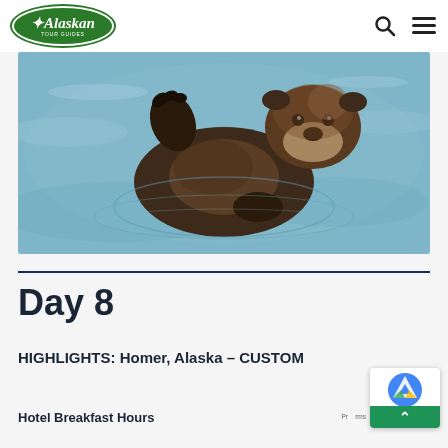Alaskan Tour Guides
[Figure (photo): A sea otter floating on its back in water, raising one paw, photographed from above. The water shows blue-gray ripples around the otter.]
Day 8
HIGHLIGHTS: Homer, Alaska – CUSTOM
Hotel Breakfast Hours